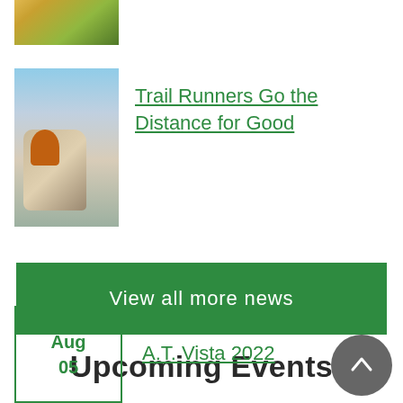[Figure (photo): Partial top image showing natural outdoor scenery with green and golden tones]
[Figure (photo): Person rock climbing on a large boulder with blue sky background]
Trail Runners Go the Distance for Good
View all more news
Upcoming Events
Aug 05
A.T. Vista 2022